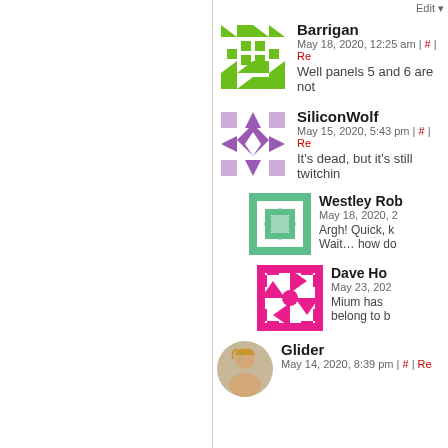[Figure (illustration): Gravatar avatar for Barrigan - green pixel art pattern]
Barrigan
May 18, 2020, 12:25 am | # | Re...
Well panels 5 and 6 are not...
[Figure (illustration): Gravatar avatar for SiliconWolf - purple geometric star pattern]
SiliconWolf
May 15, 2020, 5:43 pm | # | Re...
It's dead, but it's still twitchin...
[Figure (illustration): Gravatar avatar for Westley Rob - green geometric maze pattern]
Westley Rob...
May 18, 2020, 2...
Argh! Quick, k...
Wait... how do...
[Figure (illustration): Gravatar avatar for Dave Ho - pink/magenta pinwheel pattern]
Dave Ho...
May 23, 202...
Mium has...
belong to b...
[Figure (photo): Avatar photo for Glider user]
Glider
May 14, 2020, 8:39 pm | # | Re...